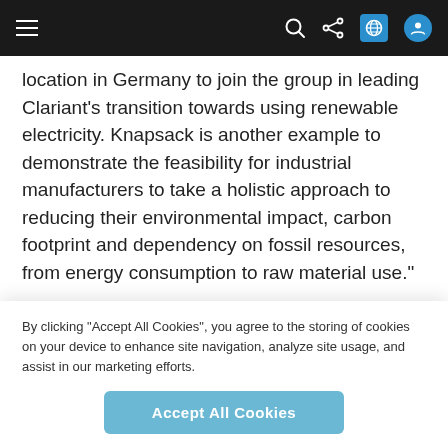[navigation bar with menu, search, share, globe, and user icons]
location in Germany to join the group in leading Clariant’s transition towards using renewable electricity. Knapsack is another example to demonstrate the feasibility for industrial manufacturers to take a holistic approach to reducing their environmental impact, carbon footprint and dependency on fossil resources, from energy consumption to raw material use.”
Stephan Lynen, Head of BU Additives, Clariant adds: “We are committed to expanding the use of renewable and reusable resources in our procurement, production
By clicking “Accept All Cookies”, you agree to the storing of cookies on your device to enhance site navigation, analyze site usage, and assist in our marketing efforts.
Accept All Cookies